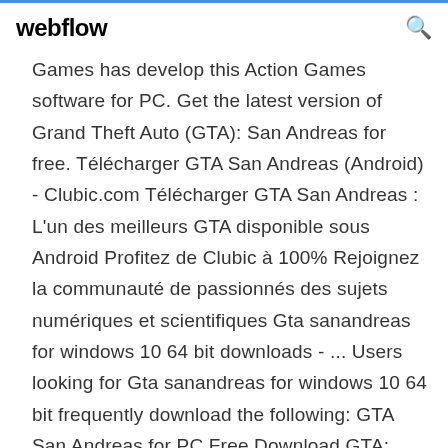webflow
Games has develop this Action Games software for PC. Get the latest version of Grand Theft Auto (GTA): San Andreas for free. Télécharger GTA San Andreas (Android) - Clubic.com Télécharger GTA San Andreas : L'un des meilleurs GTA disponible sous Android Profitez de Clubic à 100% Rejoignez la communauté de passionnés des sujets numériques et scientifiques Gta sanandreas for windows 10 64 bit downloads - ... Users looking for Gta sanandreas for windows 10 64 bit frequently download the following: GTA San Andreas for PC Free Download GTA: Sand Andreas is probably the most famous, most daring and most infamous Rockstar game even a decade